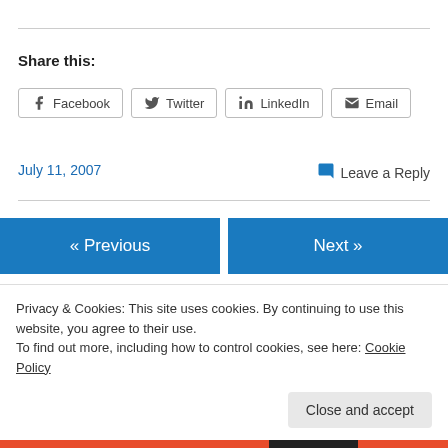Share this:
Facebook
Twitter
LinkedIn
Email
July 11, 2007
Leave a Reply
« Previous
Next »
Privacy & Cookies: This site uses cookies. By continuing to use this website, you agree to their use.
To find out more, including how to control cookies, see here: Cookie Policy
Close and accept